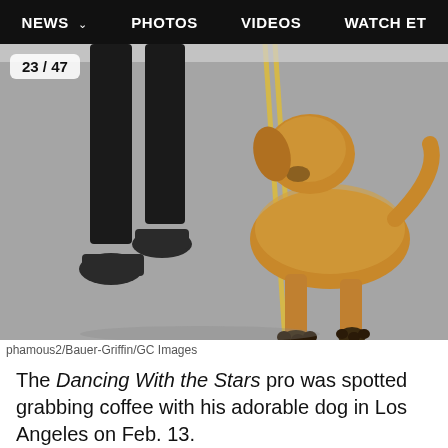NEWS  PHOTOS  VIDEOS  WATCH ET
[Figure (photo): Close-up photo of a person's legs in black pants and dark shoes walking alongside a golden retriever dog on a paved road with yellow double lines visible.]
phamous2/Bauer-Griffin/GC Images
The Dancing With the Stars pro was spotted grabbing coffee with his adorable dog in Los Angeles on Feb. 13.